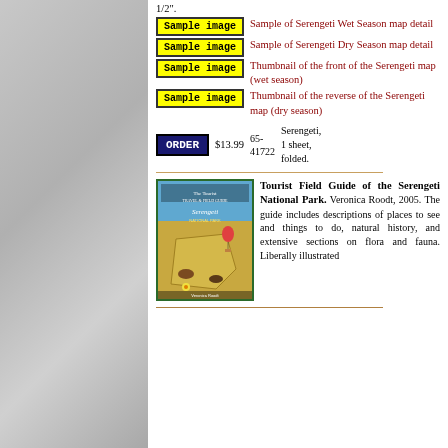1/2".
[Figure (screenshot): Yellow 'Sample image' button placeholder]
Sample of Serengeti Wet Season map detail
[Figure (screenshot): Yellow 'Sample image' button placeholder]
Sample of Serengeti Dry Season map detail
[Figure (screenshot): Yellow 'Sample image' button placeholder]
Thumbnail of the front of the Serengeti map (wet season)
[Figure (screenshot): Yellow 'Sample image' button placeholder]
Thumbnail of the reverse of the Serengeti map (dry season)
ORDER $13.99 65-41722 Serengeti, 1 sheet, folded.
[Figure (photo): Book cover: The Tourist Travel & Field Guide of Serengeti National Park]
Tourist Field Guide of the Serengeti National Park. Veronica Roodt, 2005. The guide includes descriptions of places to see and things to do, natural history, and extensive sections on flora and fauna. Liberally illustrated